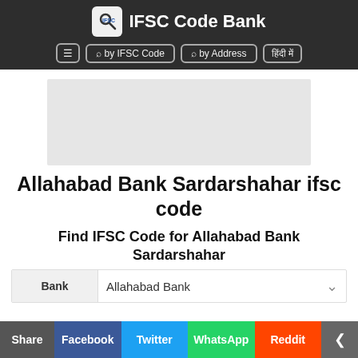IFSC Code Bank
[Figure (screenshot): Navigation bar with buttons: by IFSC Code, by Address, and a Hindi text button]
[Figure (other): Gray advertisement placeholder area]
Allahabad Bank Sardarshahar ifsc code
Find IFSC Code for Allahabad Bank Sardarshahar
| Bank |  |
| --- | --- |
| Bank | Allahabad Bank |
Share | Facebook | Twitter | WhatsApp | Reddit